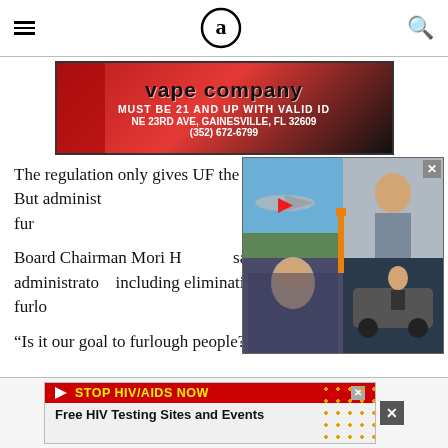≡  (a)  🔍
[Figure (photo): Vape company advertisement banner: red/black gradient background, text 'vape company MUST BE 21 AND UP WITH VALID ID NE 23RD AVE, GAINESVILLE, FL 32609 (352) 672-6799']
The regulation only gives UF the ability to enact furloughs. But administ[rators] said there are no immediate plans to fur[lough anyone].
[Figure (photo): Celebrity gossip popup overlay showing collage of celebrity photos including a woman in a grey dress, airport scenes, and a luxury property. Has a close (x) button in top right corner and a play button overlay.]
Board Chairman Mori H[osseini] said he presented cuts to UF administrator[s] including eliminating in-person classes, furlo[ughs, and other options].
“Is it our goal to furlough people? No,” Hosseini said.
[Figure (photo): Stop HIV/AIDS Now advertisement banner: red background with yellow text 'STOP HIV/AIDS NOW', subtext 'Free HIV Testing Sites and Events', colorful dots pattern on right side. Has close (x) buttons.]